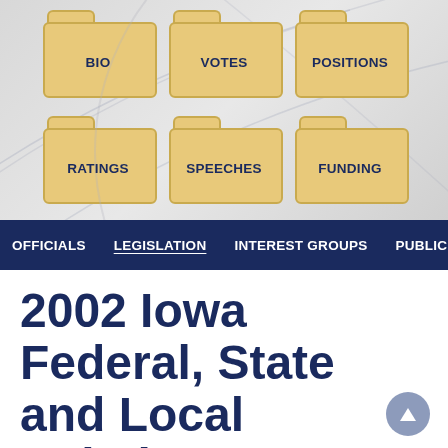[Figure (infographic): Navigation folder icons grid with two rows of three folder icons each. Row 1: BIO, VOTES, POSITIONS. Row 2: RATINGS, SPEECHES, FUNDING. Folders are tan/gold colored with dark navy labels on a gray gradient background.]
OFFICIALS  LEGISLATION  INTEREST GROUPS  PUBLIC STATI
2002 Iowa Federal, State and Local Relations Key Votes